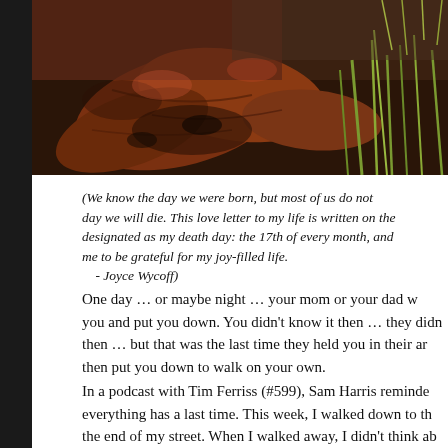[Figure (photo): Close-up photograph of fallen brown/rust-colored leaves on the ground with green grass or plant stems visible on the right side.]
(We know the day we were born, but most of us do not know the day we will die. This love letter to my life is written on the day designated as my death day: the 17th of every month, and it helps me to be grateful for my joy-filled life.
    - Joyce Wycoff)
One day … or maybe night … your mom or your dad w you and put you down. You didn't know it then … they didn then … but that was the last time they held you in their ar then put you down to walk on your own.
In a podcast with Tim Ferriss (#599), Sam Harris reminde everything has a last time. This week, I walked down to th the end of my street. When I walked away, I didn't think ab possibility that it was the last time I would see that beauti